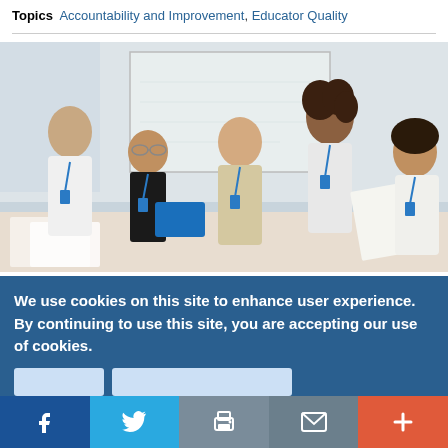Topics  Accountability and Improvement, Educator Quality
[Figure (photo): A classroom scene with four people around a table — a teacher with curly hair leaning over to assist students wearing blue lanyards, with a whiteboard in the background.]
We use cookies on this site to enhance user experience. By continuing to use this site, you are accepting our use of cookies.
Facebook  Twitter  Print  Email  More (+)